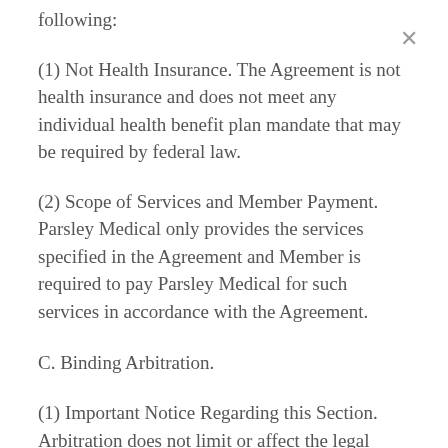following:
(1) Not Health Insurance. The Agreement is not health insurance and does not meet any individual health benefit plan mandate that may be required by federal law.
(2) Scope of Services and Member Payment.  Parsley Medical only provides the services specified in the Agreement and Member is required to pay Parsley Medical for such services in accordance with the Agreement.
C. Binding Arbitration.
(1) Important Notice Regarding this Section. Arbitration does not limit or affect the legal claims Member may bring against Parsley Medical. Agreeing